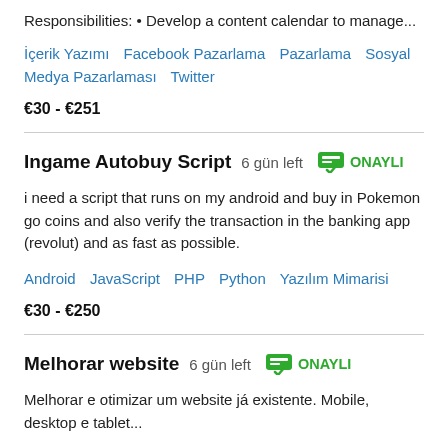Responsibilities: • Develop a content calendar to manage...
İçerik Yazımı   Facebook Pazarlama   Pazarlama   Sosyal Medya Pazarlaması   Twitter
€30 - €251
Ingame Autobuy Script   6 gün left   ONAYLI
i need a script that runs on my android and buy in Pokemon go coins and also verify the transaction in the banking app (revolut) and as fast as possible.
Android   JavaScript   PHP   Python   Yazılım Mimarisi
€30 - €250
Melhorar website   6 gün left   ONAYLI
Melhorar e otimizar um website já existente. Mobile, desktop e tablet...